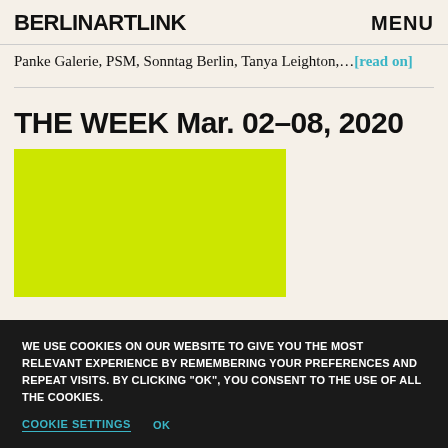BERLINARTLINK   MENU
Panke Galerie, PSM, Sonntag Berlin, Tanya Leighton,... [read on]
THE WEEK Mar. 02–08, 2020
[Figure (photo): Bright yellow-green solid color rectangle, part of article thumbnail image]
WE USE COOKIES ON OUR WEBSITE TO GIVE YOU THE MOST RELEVANT EXPERIENCE BY REMEMBERING YOUR PREFERENCES AND REPEAT VISITS. BY CLICKING "OK", YOU CONSENT TO THE USE OF ALL THE COOKIES.
COOKIE SETTINGS   OK